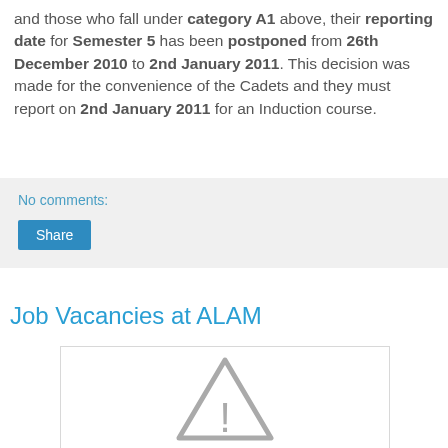and those who fall under category A1 above, their reporting date for Semester 5 has been postponed from 26th December 2010 to 2nd January 2011. This decision was made for the convenience of the Cadets and they must report on 2nd January 2011 for an Induction course.
No comments:
Share
Job Vacancies at ALAM
[Figure (other): Broken image placeholder with warning triangle icon]